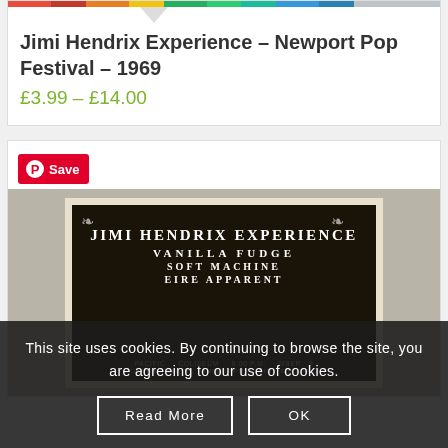[Figure (other): Colorful horizontal striped image strip at top of product card]
Jimi Hendrix Experience – Newport Pop Festival – 1969
£3.99 – £14.00
[Figure (photo): Vintage concert poster for Jimi Hendrix Experience featuring Vanilla Fudge, Soft Machine, Eire Apparent with decorative art nouveau border. Pinterest Save button overlay visible.]
This site uses cookies. By continuing to browse the site, you are agreeing to our use of cookies.
Read More
OK